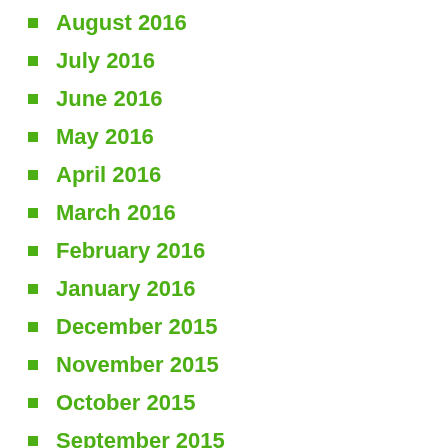August 2016
July 2016
June 2016
May 2016
April 2016
March 2016
February 2016
January 2016
December 2015
November 2015
October 2015
September 2015
August 2015
July 2015
June 2015
May 2015
April 2015
March 2015
January 2015
December 2014
November 2014